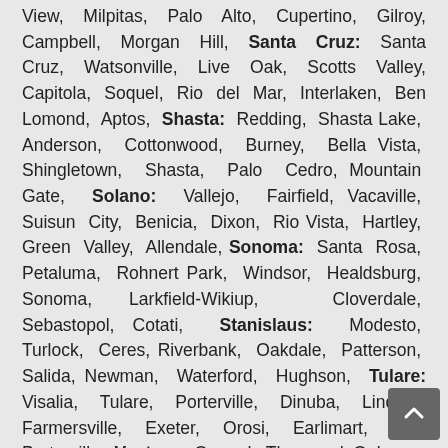View, Milpitas, Palo Alto, Cupertino, Gilroy, Campbell, Morgan Hill, Santa Cruz: Santa Cruz, Watsonville, Live Oak, Scotts Valley, Capitola, Soquel, Rio del Mar, Interlaken, Ben Lomond, Aptos, Shasta: Redding, Shasta Lake, Anderson, Cottonwood, Burney, Bella Vista, Shingletown, Shasta, Palo Cedro, Mountain Gate, Solano: Vallejo, Fairfield, Vacaville, Suisun City, Benicia, Dixon, Rio Vista, Hartley, Green Valley, Allendale, Sonoma: Santa Rosa, Petaluma, Rohnert Park, Windsor, Healdsburg, Sonoma, Larkfield-Wikiup, Cloverdale, Sebastopol, Cotati, Stanislaus: Modesto, Turlock, Ceres, Riverbank, Oakdale, Patterson, Salida, Newman, Waterford, Hughson, Tulare: Visalia, Tulare, Porterville, Dinuba, Lindsay, Farmersville, Exeter, Orosi, Earlimart, East Porterville, Ventura: Oxnard, Thousand Oaks